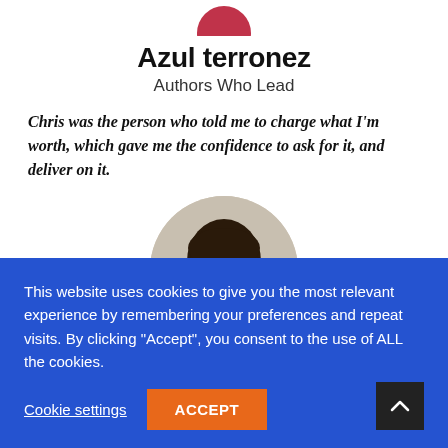[Figure (photo): Partial circular avatar photo cropped at top of page (bottom portion visible)]
Azul terronez
Authors Who Lead
Chris was the person who told me to charge what I'm worth, which gave me the confidence to ask for it, and deliver on it.
[Figure (photo): Circular profile photo of a smiling woman with long dark hair]
This website uses cookies to give you the most relevant experience by remembering your preferences and repeat visits. By clicking "Accept", you consent to the use of ALL the cookies.
Cookie settings
ACCEPT